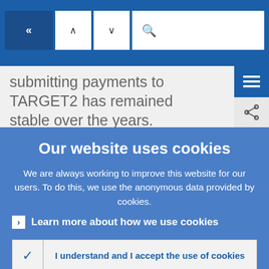[Figure (screenshot): Navigation bar with back button (double left chevron), up/down arrow buttons, and a search box with magnifying glass icon, on a blue background.]
submitting payments to TARGET2 has remained stable over the years.
Our website uses cookies
We are always working to improve this website for our users. To do this, we use the anonymous data provided by cookies.
Learn more about how we use cookies
I understand and I accept the use of cookies
I do not accept the use of cookies